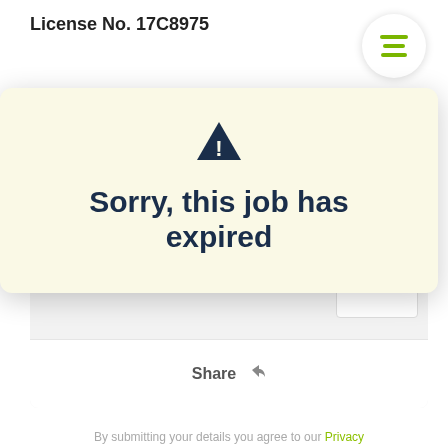License No. 17C8975
[Figure (infographic): Hamburger menu icon — three horizontal green lines inside a white circle]
[Figure (infographic): Modal dialog with cream/yellow background showing a warning triangle icon and the text 'Sorry, this job has expired']
By submitting your details you agree to our Privacy Policy
Share